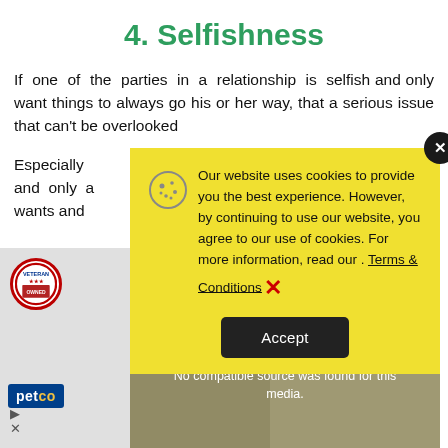4. Selfishness
If one of the parties in a relationship is selfish and only want things to always go his or her way, that a serious issue that can't be overlooked
Especially and only a wants and
[Figure (screenshot): Cookie consent popup overlay with yellow background showing text: 'Our website uses cookies to provide you the best experience. However, by continuing to use our website, you agree to our use of cookies. For more information, read our . Terms & Conditions' with an X close button and Accept button. Also a video player overlay with 'No compatible source was found for this media.' message.]
[Figure (photo): Advertisement area at bottom left with a circular badge, petco logo, and product imagery]